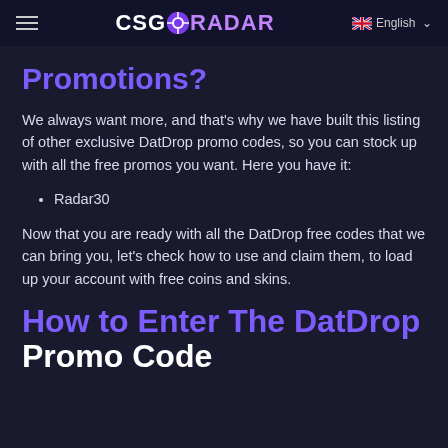CSGORADAR  English
Promotions?
We always want more, and that's why we have built this listing of other exclusive DatDrop promo codes, so you can stock up with all the free promos you want. Here you have it:
Radar30
Now that you are ready with all the DatDrop free codes that we can bring you, let's check how to use and claim them, to load up your account with free coins and skins.
How to Enter The DatDrop Promo Code